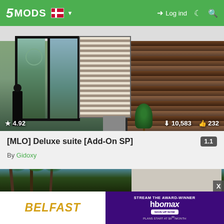5MODS — Log ind
[Figure (screenshot): Interior room screenshot showing glass sliding doors with view of palm trees and ferris wheel, blinds, wooden accent wall, and rating/download stats overlay showing 4.92 stars, 10,583 downloads, 232 likes]
[MLO] Deluxe suite [Add-On SP]
By Gidoxy
[Figure (screenshot): Exterior shot of a modern luxury villa with palm trees, blue sky, and an advertisement banner at the bottom showing BELFAST film and HBO Max streaming offer: STREAM THE AWARD-WINNER, SIGN UP NOW, PLANS START AT $9.99/MONTH]